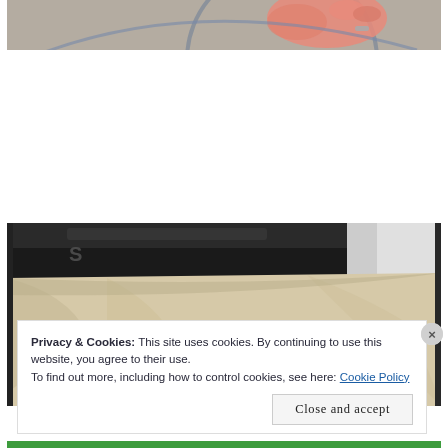[Figure (photo): Top portion of a photo showing a person's hand holding something near a circular object, on a grey carpet background. Partial view cropped at top.]
[Figure (photo): Photo of a dark-coloured pan or tray with parchment/baking paper inside, viewed at an angle. Dark metallic surface visible above the paper.]
Privacy & Cookies: This site uses cookies. By continuing to use this website, you agree to their use.
To find out more, including how to control cookies, see here: Cookie Policy
Close and accept